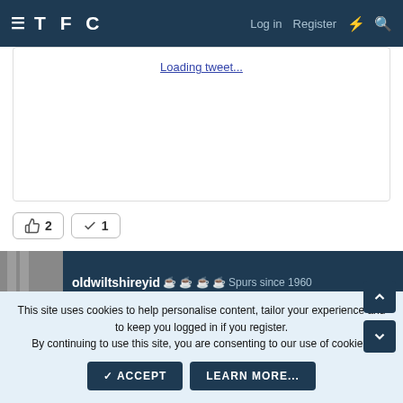TFC  Log in  Register
[Figure (screenshot): Tweet embed placeholder showing 'Loading tweet...' link]
2  1
oldwiltshireyid 🏆🏆🏆🏆 Spurs since 1960
11 Mar 2022  #467
This site uses cookies to help personalise content, tailor your experience and to keep you logged in if you register.
By continuing to use this site, you are consenting to our use of cookies.
✓ ACCEPT    LEARN MORE...